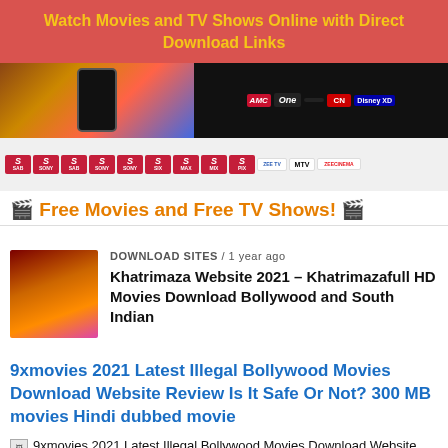Watch Movies and TV Shows Online with Direct Download Links
[Figure (screenshot): Banner image showing a phone with movie poster and TV channel logos including Sony, Zee TV, MTV, Zee Cinema, Cartoon Network, Disney XD]
🎬 Free Movies and Free TV Shows! 🎬
[Figure (photo): Thumbnail for Khatrimaza article showing movie posters]
DOWNLOAD SITES / 1 year ago
Khatrimaza Website 2021 – Khatrimazafull HD Movies Download Bollywood and South Indian
9xmovies 2021 Latest Illegal Bollywood Movies Download Website Review Is It Safe Or Not? 300 MB movies Hindi dubbed movie
9xmovies 2021 Latest Illegal Bollywood Movies Download Website Review Is It Safe Or Not? 300 MB movies Hindi dubbed movie